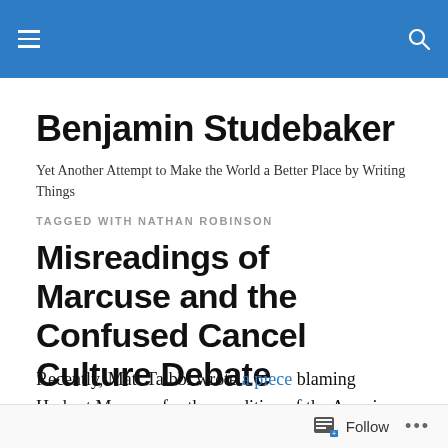Benjamin Studebaker [navigation header with hamburger menu and search icon]
Benjamin Studebaker
Yet Another Attempt to Make the World a Better Place by Writing Things
TAGGED WITH NATHAN ROBINSON
Misreadings of Marcuse and the Confused Cancel Culture Debate
Recently, Matt Taibbi wrote a piece blaming Herbert Marcuse for the condition of the American left. Separately,
Follow ...